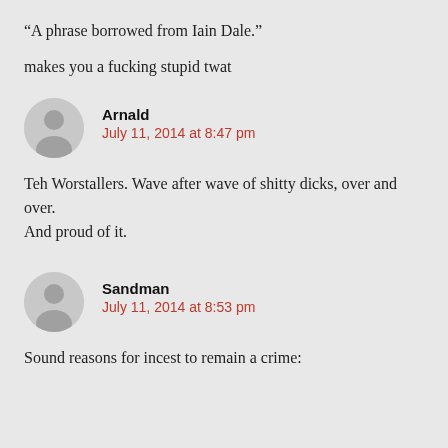“A phrase borrowed from Iain Dale.”
makes you a fucking stupid twat
Arnald
July 11, 2014 at 8:47 pm
Teh Worstallers. Wave after wave of shitty dicks, over and over. And proud of it.
Sandman
July 11, 2014 at 8:53 pm
Sound reasons for incest to remain a crime: